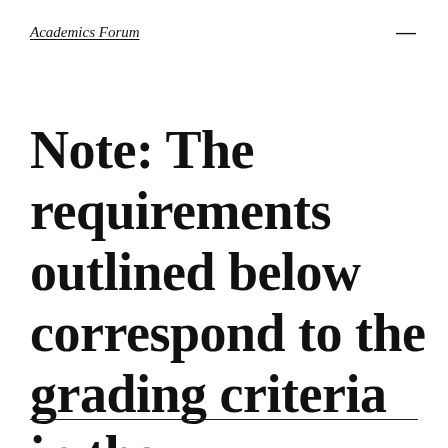Academics Forum
Note: The requirements outlined below correspond to the grading criteria in the